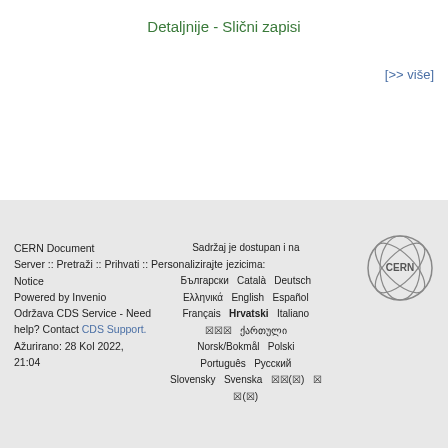Detaljnije - Slični zapisi
[>> više]
CERN Document Server :: Pretraži :: Prihvati :: Personalizirajte Sadržaj je dostupan i na jezicima: Български Català Deutsch Ελληνικά English Español Français Hrvatski Italiano ××× ქართული Norsk/Bokmål Polski Português Русский Slovensky Svenska ××(×) × ×(×) Powered by Invenio Održava CDS Service - Need help? Contact CDS Support. Ažurirano: 28 Kol 2022, 21:04